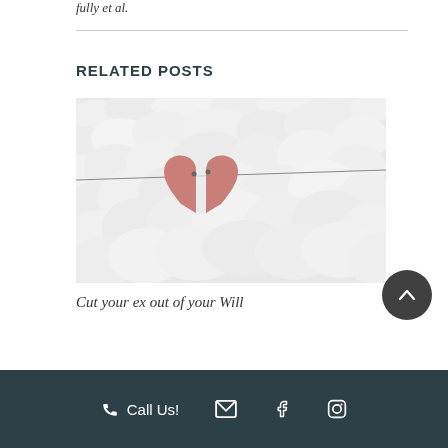fully et al.
RELATED POSTS
[Figure (photo): A broken pink heart hanging on a string/wire against a white fluffy background, representing a split or divorce theme]
Cut your ex out of your Will
Call Us! [phone icon] [email icon] [facebook icon] [instagram icon]